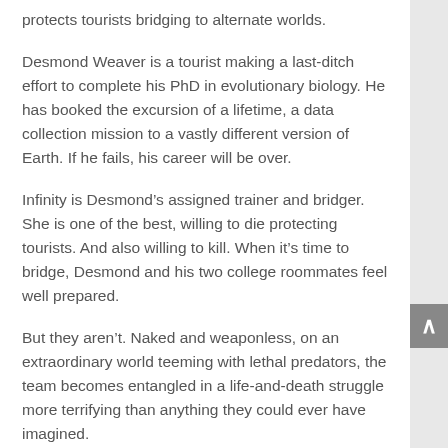protects tourists bridging to alternate worlds.
Desmond Weaver is a tourist making a last-ditch effort to complete his PhD in evolutionary biology. He has booked the excursion of a lifetime, a data collection mission to a vastly different version of Earth. If he fails, his career will be over.
Infinity is Desmond’s assigned trainer and bridger. She is one of the best, willing to die protecting tourists. And also willing to kill. When it’s time to bridge, Desmond and his two college roommates feel well prepared.
But they aren’t. Naked and weaponless, on an extraordinary world teeming with lethal predators, the team becomes entangled in a life-and-death struggle more terrifying than anything they could ever have imagined.